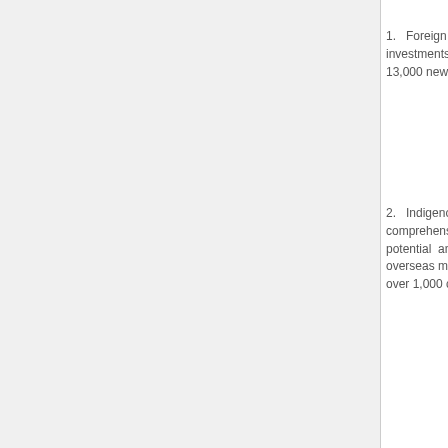1.  Foreign investments, 13,000 new j
2.  Indigenous comprehensi potential and overseas ma over 1,000 c
3.  Global So companies fr
4.  Access to worth over t targets for 20
5.  Costs – N landmark Co and the Wo relations bod